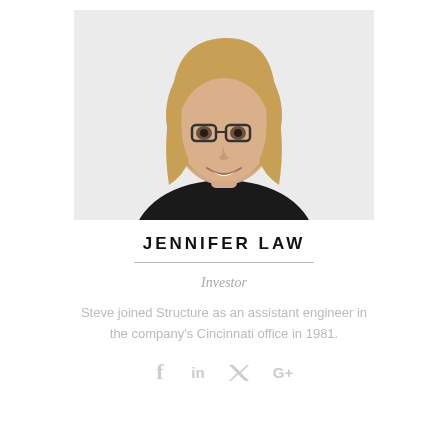[Figure (photo): Professional headshot of a blonde woman wearing glasses and a black blazer, smiling, on a light background.]
JENNIFER LAW
Investor
Steve joined Structure as an assistant engineer in the company's Cincinnati office in 1981.
[Figure (other): Social media icons: Facebook, LinkedIn, Twitter, Google+]